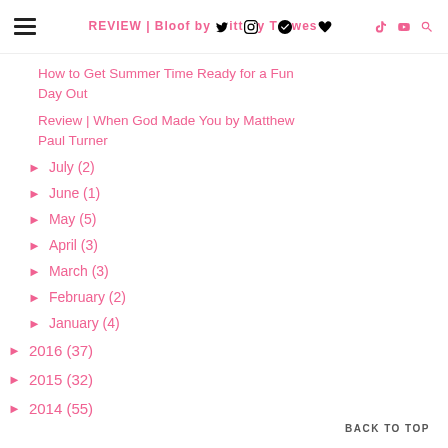REVIEW | Bloo by Titty Twes
How to Get Summer Time Ready for a Fun Day Out
Review | When God Made You by Matthew Paul Turner
► July (2)
► June (1)
► May (5)
► April (3)
► March (3)
► February (2)
► January (4)
► 2016 (37)
► 2015 (32)
► 2014 (55)
BACK TO TOP